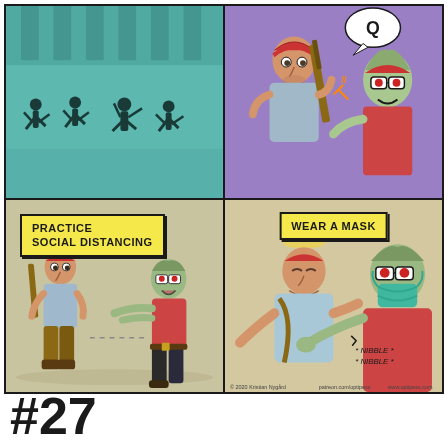[Figure (illustration): A 4-panel comic strip about zombie apocalypse survival tips for COVID-19. Panel 1 (top-left): Silhouetted figures running/fighting zombies on teal background. Panel 2 (top-right): A survivor with a rifle confronting a zombie on purple background. Panel 3 (bottom-left): 'PRACTICE SOCIAL DISTANCING' label - survivor keeping distance from approaching zombie. Panel 4 (bottom-right): 'WEAR A MASK' label - zombie wearing a mask biting the survivor's arm with '*NIBBLE* *NIBBLE*' text. Credit: © 2020 Kristian Nygård, patreon.com/optipess, www.optipess.com]
#27